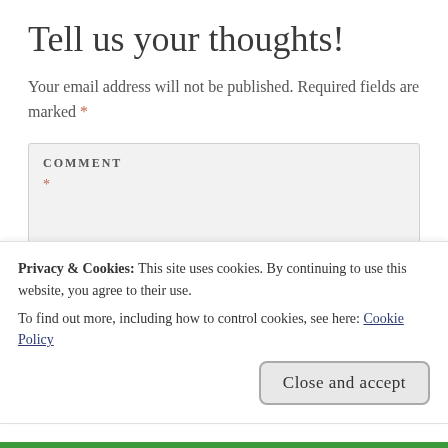Tell us your thoughts!
Your email address will not be published. Required fields are marked *
COMMENT *
Privacy & Cookies: This site uses cookies. By continuing to use this website, you agree to their use.
To find out more, including how to control cookies, see here: Cookie Policy
Close and accept